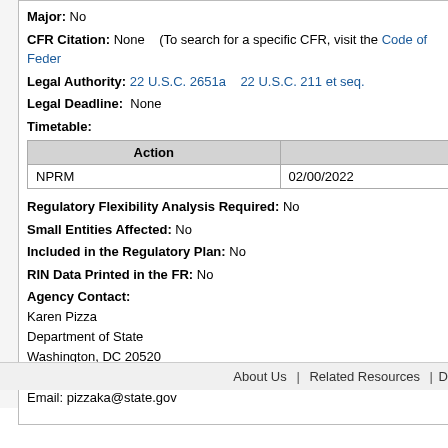RIN Status: Previously published in the Unified Agenda
Major: No
CFR Citation: None    (To search for a specific CFR, visit the Code of Feder…
Legal Authority: 22 U.S.C. 2651a   22 U.S.C. 211 et seq.
Legal Deadline: None
Timetable:
| Action |  |
| --- | --- |
| NPRM | 02/00/2022 |
Regulatory Flexibility Analysis Required: No
Small Entities Affected: No
Included in the Regulatory Plan: No
RIN Data Printed in the FR: No
Agency Contact:
Karen Pizza
Department of State
Washington, DC 20520
Phone:202 344-5451
Email: pizzaka@state.gov
About Us   |   Related Resources   |   D…